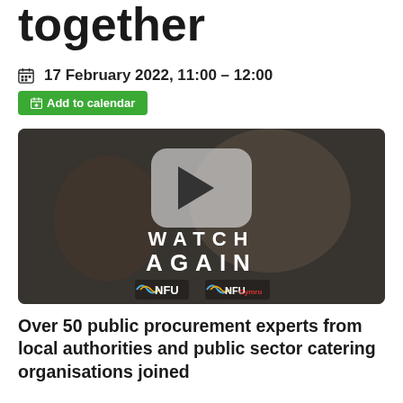together
📅 17 February 2022, 11:00 – 12:00
+ Add to calendar
[Figure (screenshot): Video thumbnail showing school canteen scene with 'WATCH AGAIN' text overlay and NFU / NFU Cymru logos, with a play button icon]
Over 50 public procurement experts from local authorities and public sector catering organisations joined